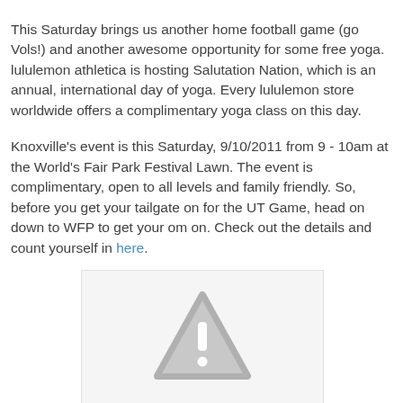This Saturday brings us another home football game (go Vols!) and another awesome opportunity for some free yoga. lululemon athletica is hosting Salutation Nation, which is an annual, international day of yoga. Every lululemon store worldwide offers a complimentary yoga class on this day.
Knoxville's event is this Saturday, 9/10/2011 from 9 - 10am at the World's Fair Park Festival Lawn. The event is complimentary, open to all levels and family friendly. So, before you get your tailgate on for the UT Game, head on down to WFP to get your om on. Check out the details and count yourself in here.
[Figure (other): Broken image placeholder showing a grey warning triangle with exclamation mark on a light grey background]